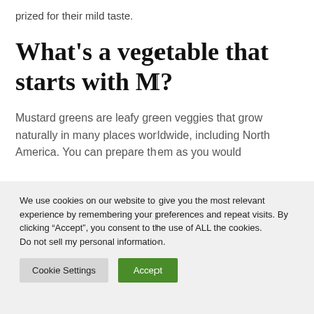prized for their mild taste.
What's a vegetable that starts with M?
Mustard greens are leafy green veggies that grow naturally in many places worldwide, including North America. You can prepare them as you would
We use cookies on our website to give you the most relevant experience by remembering your preferences and repeat visits. By clicking “Accept”, you consent to the use of ALL the cookies.
Do not sell my personal information.
Cookie Settings
Accept